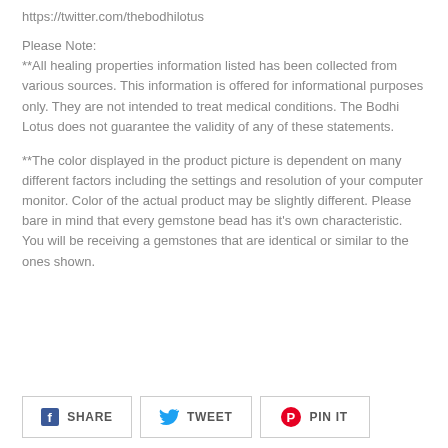https://twitter.com/thebodhilotus
Please Note:
**All healing properties information listed has been collected from various sources. This information is offered for informational purposes only. They are not intended to treat medical conditions. The Bodhi Lotus does not guarantee the validity of any of these statements.
**The color displayed in the product picture is dependent on many different factors including the settings and resolution of your computer monitor. Color of the actual product may be slightly different. Please bare in mind that every gemstone bead has it's own characteristic. You will be receiving a gemstones that are identical or similar to the ones shown.
SHARE   TWEET   PIN IT